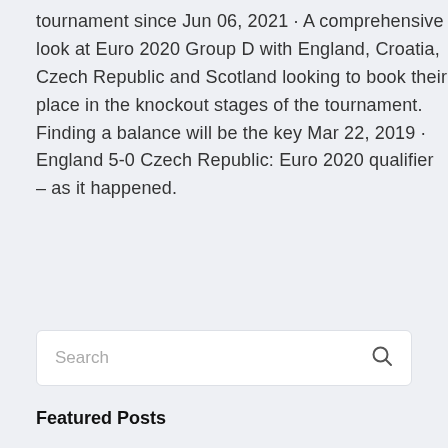tournament since Jun 06, 2021 · A comprehensive look at Euro 2020 Group D with England, Croatia, Czech Republic and Scotland looking to book their place in the knockout stages of the tournament. Finding a balance will be the key Mar 22, 2019 · England 5-0 Czech Republic: Euro 2020 qualifier – as it happened.
Search
Featured Posts